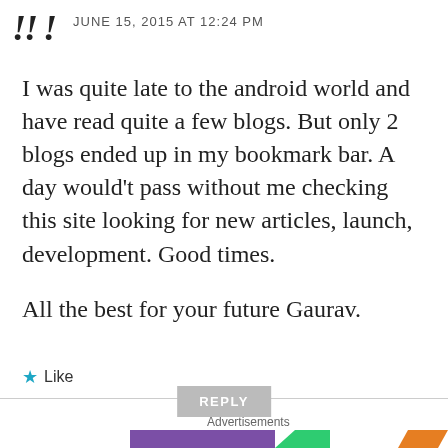JUNE 15, 2015 AT 12:24 PM
I was quite late to the android world and have read quite a few blogs. But only 2 blogs ended up in my bookmark bar. A day would't pass without me checking this site looking for new articles, launch, development. Good times.

All the best for your future Gaurav.
Like
REPLY
Advertisements